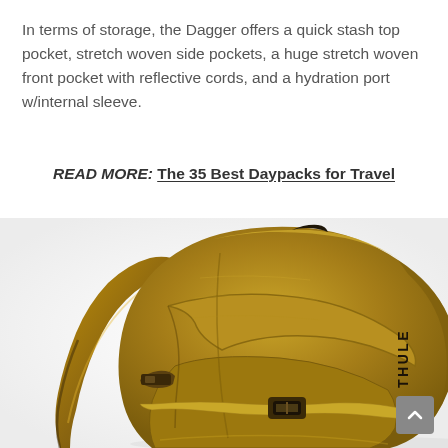In terms of storage, the Dagger offers a quick stash top pocket, stretch woven side pockets, a huge stretch woven front pocket with reflective cords, and a hydration port w/internal sleeve.
READ MORE: The 35 Best Daypacks for Travel
[Figure (photo): Photo of a tan/olive green Thule Dagger backpack showing the front and side view with shoulder straps, buckles, and the Thule logo visible on the bag.]